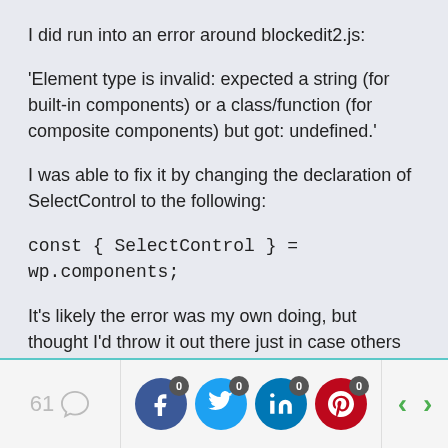I did run into an error around blockedit2.js:
'Element type is invalid: expected a string (for built-in components) or a class/function (for composite components) but got: undefined.'
I was able to fix it by changing the declaration of SelectControl to the following:
const { SelectControl } = wp.components;
It's likely the error was my own doing, but thought I'd throw it out there just in case others are having the same issue. Other than that, everything ran fantastically. Thanks again! 🙂
61 comments | Facebook share 0 | Twitter share 0 | LinkedIn share 0 | Pinterest share 0 | Previous | Next